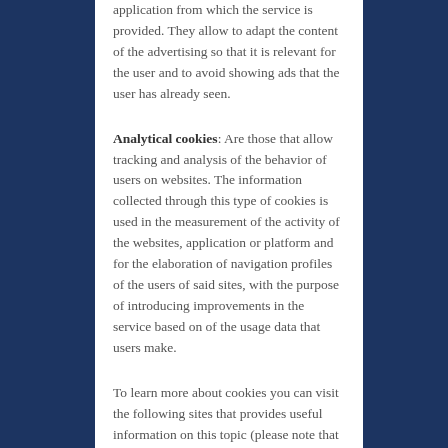application from which the service is provided. They allow to adapt the content of the advertising so that it is relevant for the user and to avoid showing ads that the user has already seen.
Analytical cookies: Are those that allow tracking and analysis of the behavior of users on websites. The information collected through this type of cookies is used in the measurement of the activity of the websites, application or platform and for the elaboration of navigation profiles of the users of said sites, with the purpose of introducing improvements in the service based on of the usage data that users make.
To learn more about cookies you can visit the following sites that provides useful information on this topic (please note that both are links to